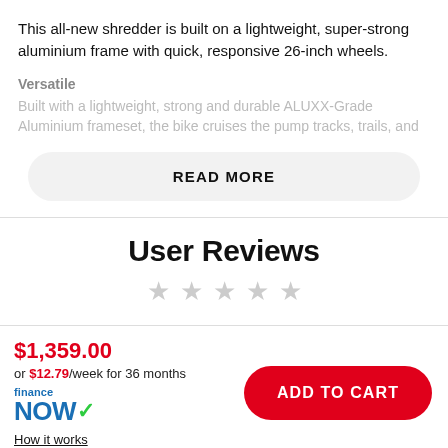This all-new shredder is built on a lightweight, super-strong aluminium frame with quick, responsive 26-inch wheels.
Versatile
Built with a lightweight, strong and durable ALUXX-Grade Aluminium frameset, the bike cruises the pump tracks, trails, and
READ MORE
User Reviews
★ ★ ★ ★ ★
$1,359.00
or $12.79/week for 36 months
finance NOW
How it works
ADD TO CART